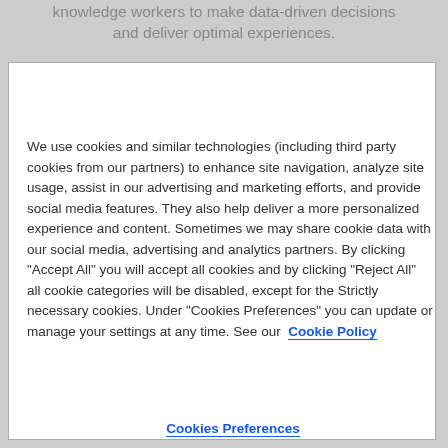knowledge workers to make data-driven decisions and deliver optimal experiences.
We use cookies and similar technologies (including third party cookies from our partners) to enhance site navigation, analyze site usage, assist in our advertising and marketing efforts, and provide social media features. They also help deliver a more personalized experience and content. Sometimes we may share cookie data with our social media, advertising and analytics partners. By clicking "Accept All" you will accept all cookies and by clicking "Reject All" all cookie categories will be disabled, except for the Strictly necessary cookies. Under "Cookies Preferences" you can update or manage your settings at any time. See our  Cookie Policy
Cookies Preferences
Reject All